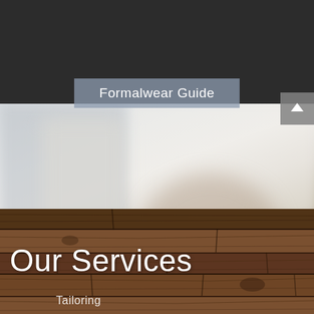[Figure (logo): Anthonys Fashion logo with stylized 'A' in light blue on dark background]
Formalwear Guide
[Figure (photo): Blurred background photo of a room with stone fireplace and wooden surfaces]
[Figure (other): Scroll-to-top button with upward chevron]
[Figure (photo): Dark wood plank texture background]
Our Services
Tailoring